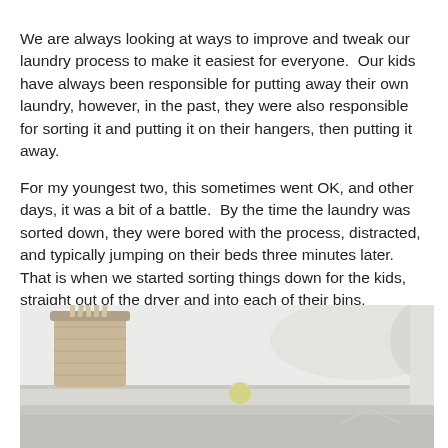We are always looking at ways to improve and tweak our laundry process to make it easiest for everyone.  Our kids have always been responsible for putting away their own laundry, however, in the past, they were also responsible for sorting it and putting it on their hangers, then putting it away.
For my youngest two, this sometimes went OK, and other days, it was a bit of a battle.  By the time the laundry was sorted down, they were bored with the process, distracted, and typically jumping on their beds three minutes later.  That is when we started sorting things down for the kids, straight out of the dryer and into each of their bins.
[Figure (photo): Interior laundry room shelf with a wicker basket containing clothespins and a small round item, white tube or pipe visible on the right, bright white clean aesthetic with white shelving]